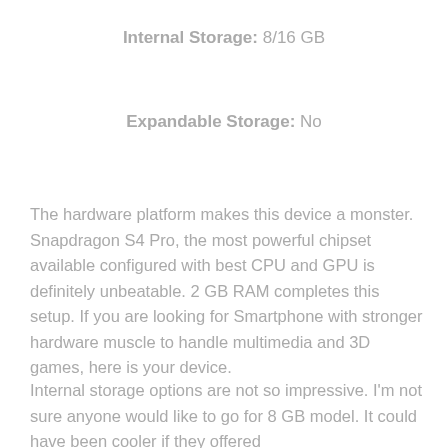Internal Storage: 8/16 GB
Expandable Storage: No
The hardware platform makes this device a monster. Snapdragon S4 Pro, the most powerful chipset available configured with best CPU and GPU is definitely unbeatable. 2 GB RAM completes this setup. If you are looking for Smartphone with stronger hardware muscle to handle multimedia and 3D games, here is your device.
Internal storage options are not so impressive. I'm not sure anyone would like to go for 8 GB model. It could have been cooler if they offered 16/32 GB options. Th...